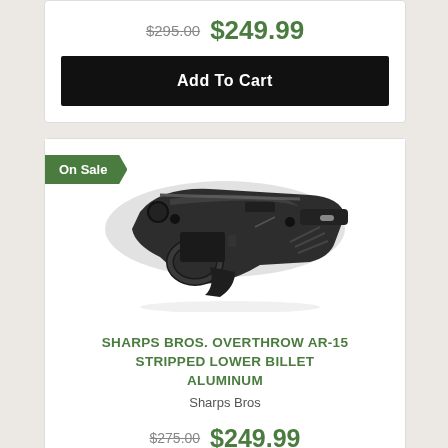$295.00 $249.99
Add To Cart
On Sale
[Figure (photo): Sharps Bros. Overthrow AR-15 stripped lower billet aluminum receiver, black anodized finish, photographed at an angle showing trigger guard and buffer tube interface.]
SHARPS BROS. OVERTHROW AR-15 STRIPPED LOWER BILLET ALUMINUM
Sharps Bros
$275.00 $249.99